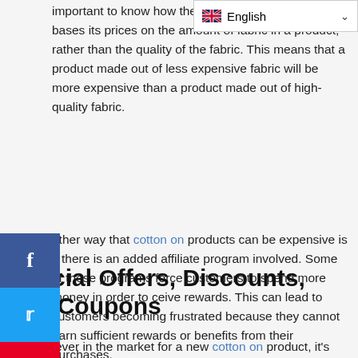important to know how the comp… Cotton on often bases its prices on the amount of fabric in a product, rather than the quality of the fabric. This means that a product made out of less expensive fabric will be more expensive than a product made out of high-quality fabric.
other way that cotton on products can be expensive is if there is an added affiliate program involved. Some of these programs force customers to spend more money in order to ceive rewards. This can lead to customers becoming frustrated because they cannot earn sufficient rewards or benefits from their purchases.
Special Offers, Discounts, and Coupons
If you're ever in the market for a new cotton on product, it's